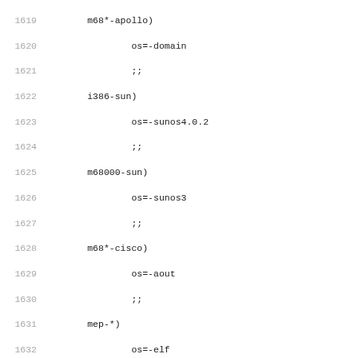Code listing lines 1619-1651 showing shell case statement entries for various architecture-OS combinations including os= assignments and ;; terminators